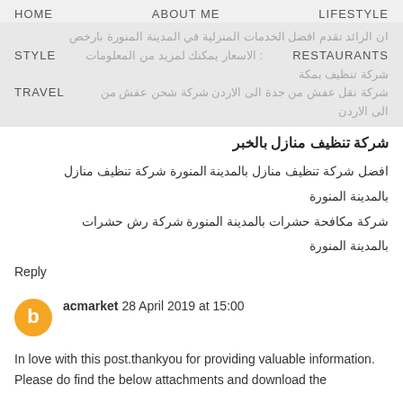HOME   ABOUT ME   LIFESTYLE
ان الرائد تقدم افضل الخدمات المنزلية في المدينة المنورة بارخص الاسعار يمكنك لمزيد من المعلومات : شركة تنظيف بمكة
STYLE   RESTAURANTS
شركة نقل عفش من جدة الى الاردن شركة شحن عفش من الى الاردن
TRAVEL
شركة تنظيف منازل بالخبر
افضل شركة تنظيف منازل بالمدينة المنورة شركة تنظيف منازل بالمدينة المنورة
شركة مكافحة حشرات بالمدينة المنورة شركة رش حشرات بالمدينة المنورة
Reply
acmarket 28 April 2019 at 15:00
In love with this post.thankyou for providing valuable information.
Please do find the below attachments and download the